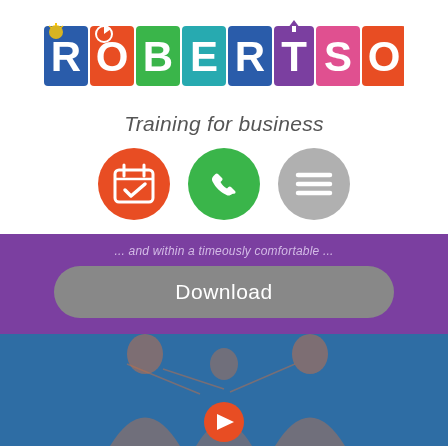[Figure (logo): Robertson Training for Business logo with colorful letter icons]
Training for business
[Figure (infographic): Three circular icon buttons: orange calendar/checkmark, green phone, gray menu/hamburger]
Download
[Figure (photo): Blue section with people silhouettes and YouTube play button]